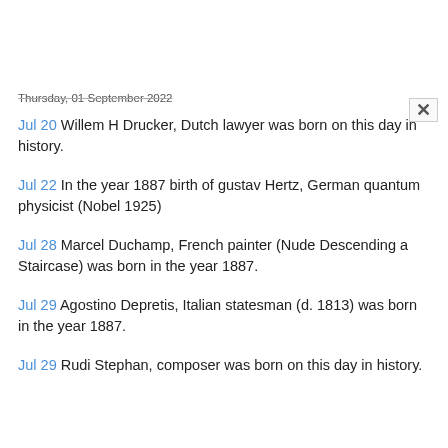Thursday, 01 September 2022
Jul 20 Willem H Drucker, Dutch lawyer was born on this day in history.
Jul 22 In the year 1887 birth of gustav Hertz, German quantum physicist (Nobel 1925)
Jul 28 Marcel Duchamp, French painter (Nude Descending a Staircase) was born in the year 1887.
Jul 29 Agostino Depretis, Italian statesman (d. 1813) was born in the year 1887.
Jul 29 Rudi Stephan, composer was born on this day in history.